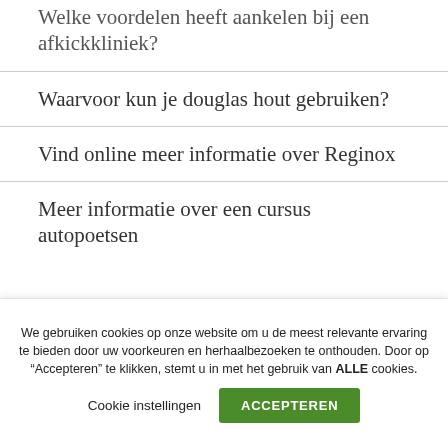Welke voordelen heeft aankelen bij een afkickkliniek?
Waarvoor kun je douglas hout gebruiken?
Vind online meer informatie over Reginox
Meer informatie over een cursus autopoetsen
We gebruiken cookies op onze website om u de meest relevante ervaring te bieden door uw voorkeuren en herhaalbezoeken te onthouden. Door op “Accepteren” te klikken, stemt u in met het gebruik van ALLE cookies.
Cookie instellingen  ACCEPTEREN